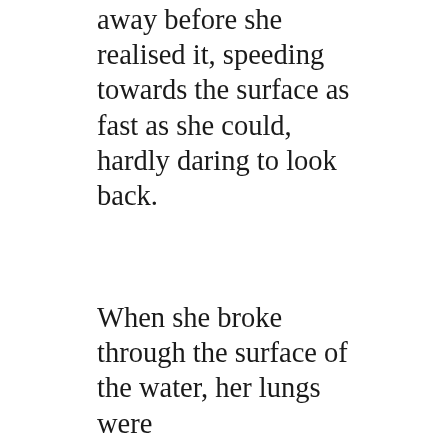away before she realised it, speeding towards the surface as fast as she could, hardly daring to look back.
When she broke through the surface of the water, her lungs were